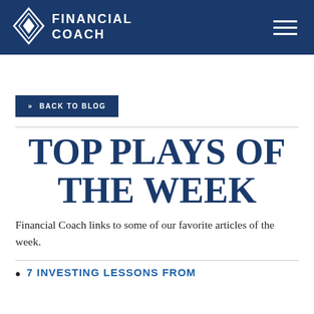FINANCIAL COACH
« BACK TO BLOG
TOP PLAYS OF THE WEEK
Financial Coach links to some of our favorite articles of the week.
7 INVESTING LESSONS FROM